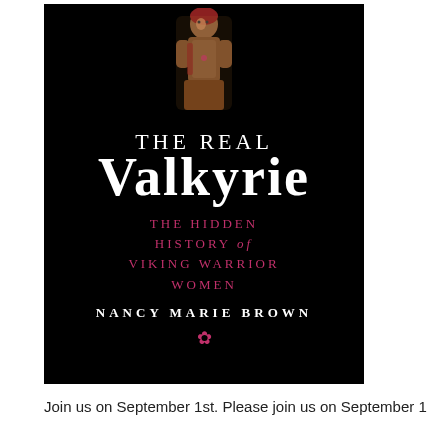[Figure (illustration): Book cover of 'The Real Valkyrie: The Hidden History of Viking Warrior Women' by Nancy Marie Brown. Black background with an ancient carved figurine at the top, large white serif title text, pink subtitle text, and author name in white.]
Join us on September 1st. Please join us on September 1